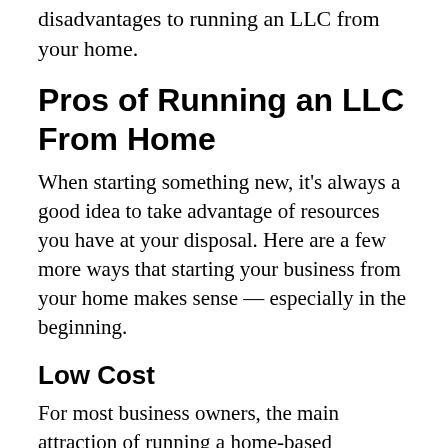disadvantages to running an LLC from your home.
Pros of Running an LLC From Home
When starting something new, it's always a good idea to take advantage of resources you have at your disposal. Here are a few more ways that starting your business from your home makes sense — especially in the beginning.
Low Cost
For most business owners, the main attraction of running a home-based